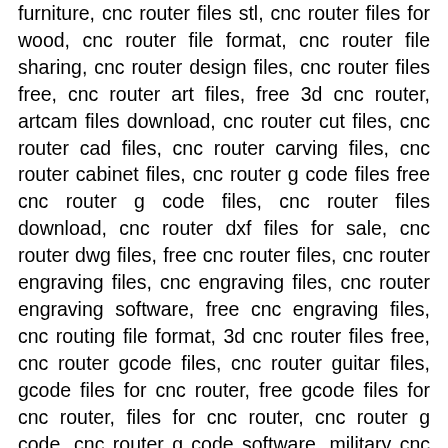furniture, cnc router files stl, cnc router files for wood, cnc router file format, cnc router file sharing, cnc router design files, cnc router files free, cnc router art files, free 3d cnc router, artcam files download, cnc router cut files, cnc router cad files, cnc router carving files, cnc router cabinet files, cnc router g code files free cnc router g code files, cnc router files download, cnc router dxf files for sale, cnc router dwg files, free cnc router files, cnc router engraving files, cnc engraving files, cnc router engraving software, free cnc engraving files, cnc routing file format, 3d cnc router files free, cnc router gcode files, cnc router guitar files, gcode files for cnc router, free gcode files for cnc router, files for cnc router, cnc router g code, cnc router g code software, military cnc router files, military cnc files, free military cnc files, cnc router project files, free cnc router project files, cnc router project, cnc router project downloads, cnc router svg files, cnc router sample files, cnc router stl files free, cnc router sign files, cnc router file types, cnc router test files, cnc router table files, cnc router file, file type for cnc router, file format for cnc router, cnc router files free